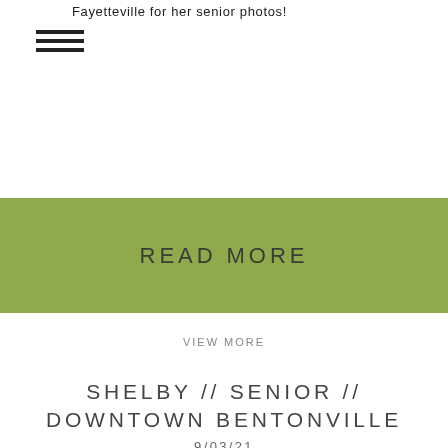Fayetteville for her senior photos!
[Figure (other): Hamburger menu icon with three horizontal lines]
READ MORE
VIEW MORE
SHELBY // SENIOR // DOWNTOWN BENTONVILLE
9/03/21